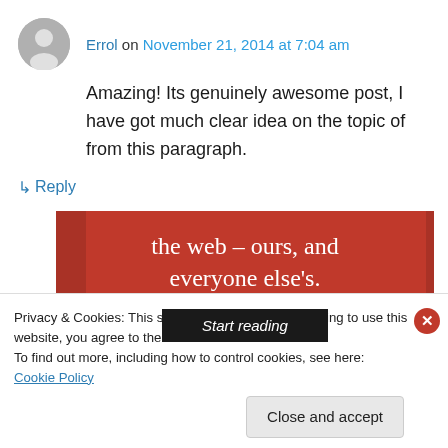Errol on November 21, 2014 at 7:04 am
Amazing! Its genuinely awesome post, I have got much clear idea on the topic of from this paragraph.
↳ Reply
[Figure (illustration): Red banner advertisement with white serif text reading 'the web – ours, and everyone else's.' and a black 'Start reading' button]
Privacy & Cookies: This site uses cookies. By continuing to use this website, you agree to their use.
To find out more, including how to control cookies, see here: Cookie Policy
Close and accept